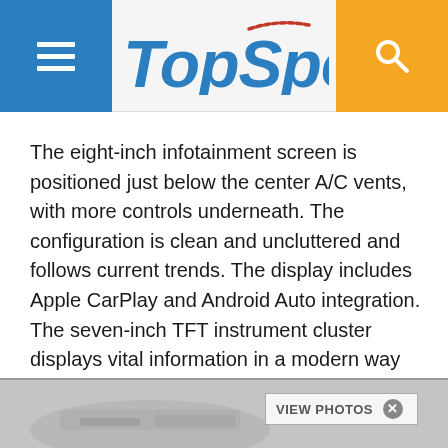TopSpeed
The eight-inch infotainment screen is positioned just below the center A/C vents, with more controls underneath. The configuration is clean and uncluttered and follows current trends. The display includes Apple CarPlay and Android Auto integration. The seven-inch TFT instrument cluster displays vital information in a modern way and puts the Insight inline with other recently introduced hybrid cars.
[Figure (photo): Bottom strip showing a car interior dashboard photo, with a 'VIEW PHOTOS' button overlay in the bottom right corner.]